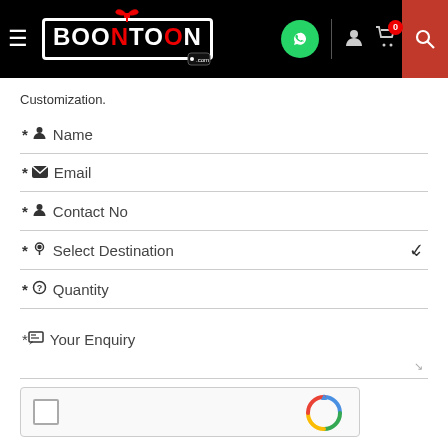[Figure (screenshot): Boontoon.com website navigation bar with hamburger menu, logo, WhatsApp icon, user icon, cart icon with badge '0', and search button]
Customization.
* Name
* Email
* Contact No
* Select Destination
* Quantity
* Your Enquiry
[Figure (screenshot): reCAPTCHA widget at the bottom of the form]